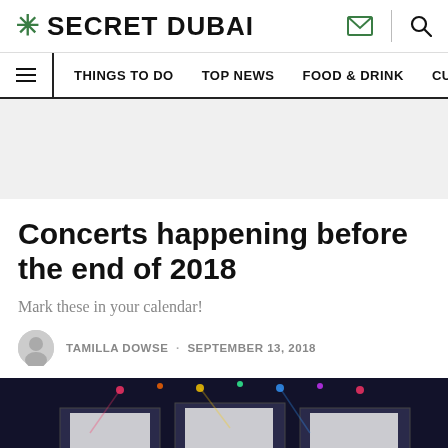SECRET DUBAI
THINGS TO DO · TOP NEWS · FOOD & DRINK · CULTURE
[Figure (other): Gray advertisement banner placeholder area]
Concerts happening before the end of 2018
Mark these in your calendar!
TAMILLA DOWSE · SEPTEMBER 13, 2018
[Figure (photo): Concert stage photo with colorful lights and equipment visible]